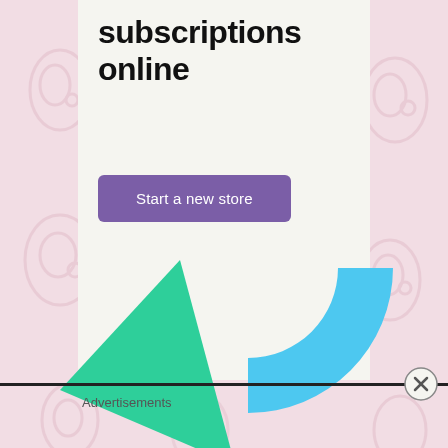subscriptions online
Start a new store
[Figure (illustration): Green triangle shape and blue arc/donut partial shape decorating the advertisement card]
Advertisements